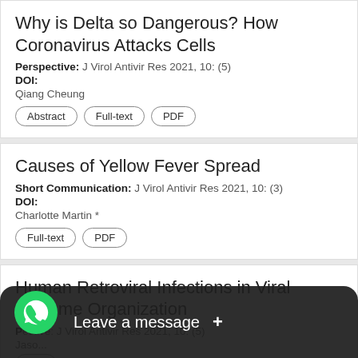Why is Delta so Dangerous? How Coronavirus Attacks Cells
Perspective: J Virol Antivir Res 2021, 10: (5)
DOI:
Qiang Cheung
Abstract | Full-text | PDF
Causes of Yellow Fever Spread
Short Communication: J Virol Antivir Res 2021, 10: (3)
DOI:
Charlotte Martin *
Full-text | PDF
Human Retroviral Infections in Viral Genome Organization
Perspective: J Virol Antivir Res 2021, 10: (5)
Jaso...
Abs...